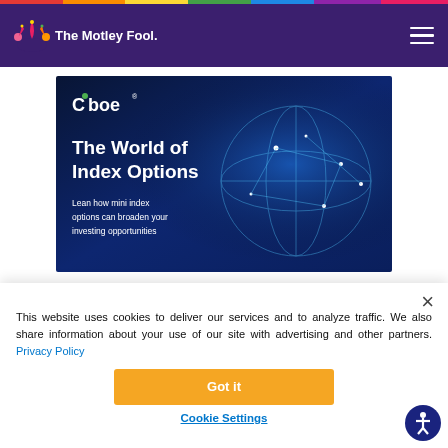[Figure (logo): The Motley Fool logo with jester hat in pink/magenta and text 'The Motley Fool.' in white on dark purple header]
[Figure (photo): Cboe advertisement banner with dark blue background, Cboe logo, and text 'The World of Index Options - Learn how mini index options can broaden your investing opportunities']
This website uses cookies to deliver our services and to analyze traffic. We also share information about your use of our site with advertising and other partners. Privacy Policy
Got it
Cookie Settings